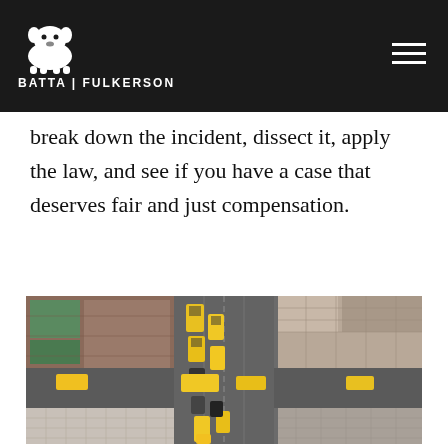BATTA | FULKERSON
break down the incident, dissect it, apply the law, and see if you have a case that deserves fair and just compensation.
[Figure (photo): Aerial top-down view of a busy urban intersection with yellow taxi cabs, city buildings, and street traffic visible from above.]